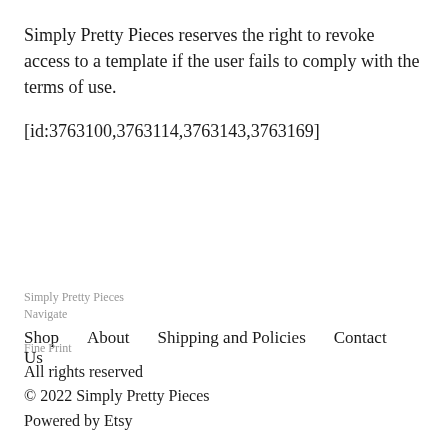Simply Pretty Pieces reserves the right to revoke access to a template if the user fails to comply with the terms of use.
[id:3763100,3763114,3763143,3763169]
Simply Pretty Pieces
Navigate
Shop    About    Shipping and Policies    Contact Us
Fine Print
All rights reserved
© 2022 Simply Pretty Pieces
Powered by Etsy